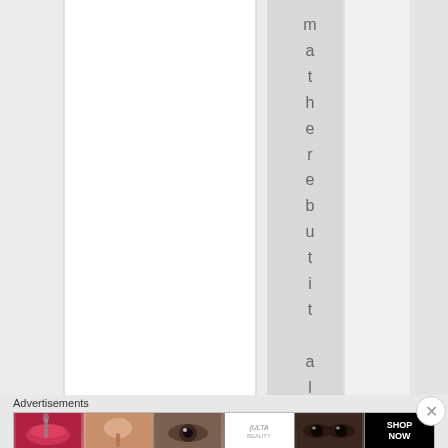[Figure (screenshot): Webpage layout showing alternating white and gray vertical column stripes with a vertical text reading 'matherebutil always way' (one letter per line) displayed in the gray column area]
Advertisements
[Figure (infographic): Ulta Beauty advertisement banner strip with 6 panels: red lips with brush, beauty brush, eye makeup, Ulta Beauty logo, dramatic eye makeup, and SHOP NOW text on black background]